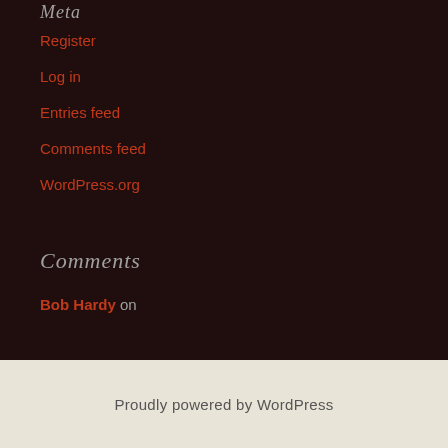Meta
Register
Log in
Entries feed
Comments feed
WordPress.org
Comments
Bob Hardy on
Proudly powered by WordPress